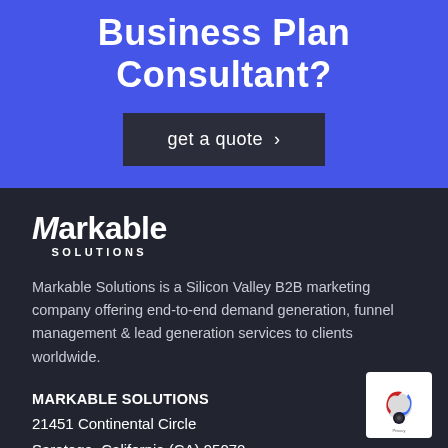Business Plan Consultant?
get a quote >
[Figure (logo): Markable Solutions logo in white on dark background]
Markable Solutions is a Silicon Valley B2B marketing company offering end-to-end demand generation, funnel management & lead generation services to clients worldwide.
MARKABLE SOLUTIONS
21451 Continental Circle
Saratoga, California (CA) 95070